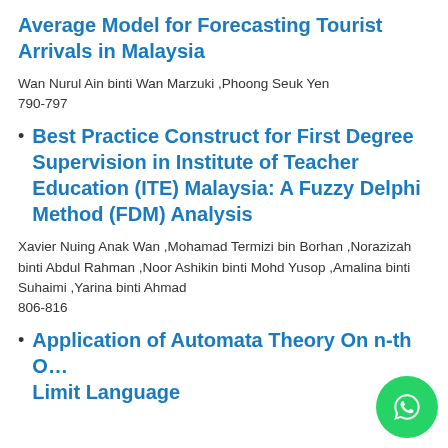Average Model for Forecasting Tourist Arrivals in Malaysia
Wan Nurul Ain binti Wan Marzuki ,Phoong Seuk Yen
790-797
Best Practice Construct for First Degree Supervision in Institute of Teacher Education (ITE) Malaysia: A Fuzzy Delphi Method (FDM) Analysis
Xavier Nuing Anak Wan ,Mohamad Termizi bin Borhan ,Norazizah binti Abdul Rahman ,Noor Ashikin binti Mohd Yusop ,Amalina binti Suhaimi ,Yarina binti Ahmad
806-816
Application of Automata Theory On n-th Order Limit Language